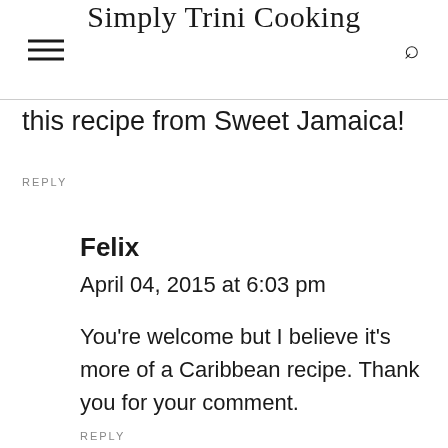Simply Trini Cooking
this recipe from Sweet Jamaica!
REPLY
Felix
April 04, 2015 at 6:03 pm
You're welcome but I believe it's more of a Caribbean recipe. Thank you for your comment.
REPLY